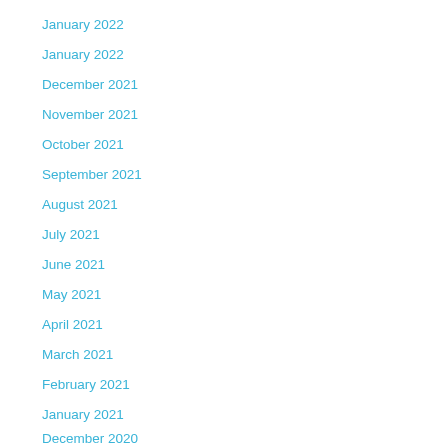January 2022
January 2022
December 2021
November 2021
October 2021
September 2021
August 2021
July 2021
June 2021
May 2021
April 2021
March 2021
February 2021
January 2021
December 2020